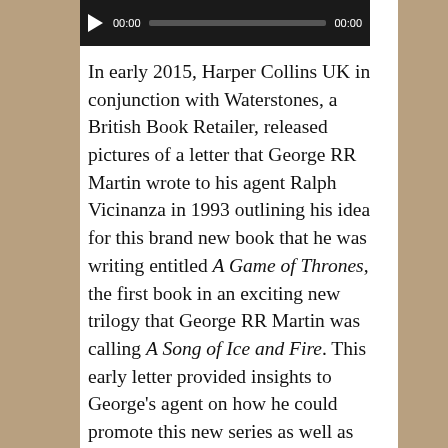[Figure (other): Audio player with play button, time display 00:00, progress bar, and end time 00:00 on dark background]
In early 2015, Harper Collins UK in conjunction with Waterstones, a British Book Retailer, released pictures of a letter that George RR Martin wrote to his agent Ralph Vicinanza in 1993 outlining his idea for this brand new book that he was writing entitled A Game of Thrones, the first book in an exciting new trilogy that George RR Martin was calling A Song of Ice and Fire. This early letter provided insights to George's agent on how he could promote this new series as well as provided a plot diagram for where GRRM thought that A Game of Thrones and A Song of Ice and Fire were going.
In Episode 10: The Book That Never Was, we do a detailed analysis of this letter